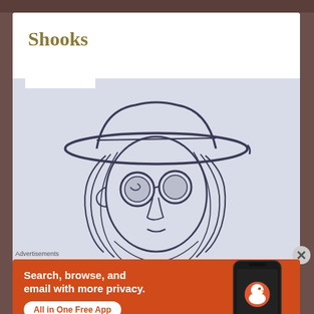Shooks
[Figure (illustration): A pencil sketch of a character wearing a wide-brim hat and round glasses with long hair, drawn on blue-gray paper.]
Advertisements
[Figure (infographic): DuckDuckGo advertisement banner: 'Search, browse, and email with more privacy. All in One Free App' with a smartphone image showing DuckDuckGo logo and branding.]